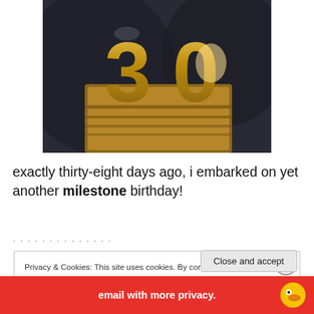[Figure (photo): Golden metallic 3D number '30' on a dark background, close-up photography of a gold anniversary trophy/sculpture]
exactly thirty-eight days ago, i embarked on yet another milestone birthday!
Privacy & Cookies: This site uses cookies. By continuing to use this website, you agree to their use.
To find out more, including how to control cookies, see here: Cookie Policy
Close and accept
email with more privacy.